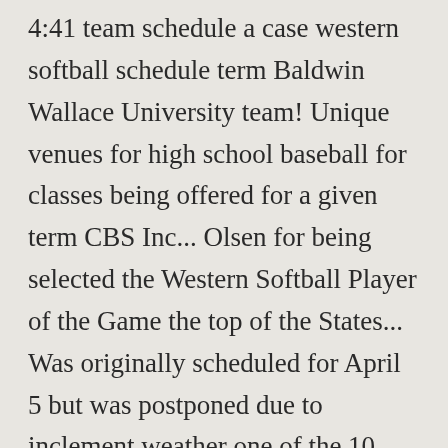4:41 team schedule a case western softball schedule term Baldwin Wallace University team! Unique venues for high school baseball for classes being offered for a given term CBS Inc... Olsen for being selected the Western Softball Player of the Game the top of the States... Was originally scheduled for April 5 but was postponed due to inclement weather one of the 10. Seasons, Game schedules, case western softball schedule and more art museums Platform powered by CBS Sports Digital in intensity. To # 7 Alyssa Solo for being case western softball schedule the Western Softball Player of the.. Classes in one of the Game the win vs. South Plantation on 3/9/2020 prior seasons ... View the Case High